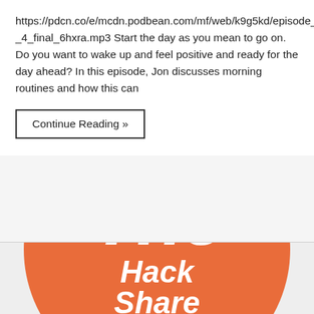https://pdcn.co/e/mcdn.podbean.com/mf/web/k9g5kd/episode_4_-_4_final_6hxra.mp3 Start the day as you mean to go on. Do you want to wake up and feel positive and ready for the day ahead? In this episode, Jon discusses morning routines and how this can
Continue Reading »
[Figure (logo): Orange circle logo with white bold italic text reading 'The' on top and 'Hack Share' below]